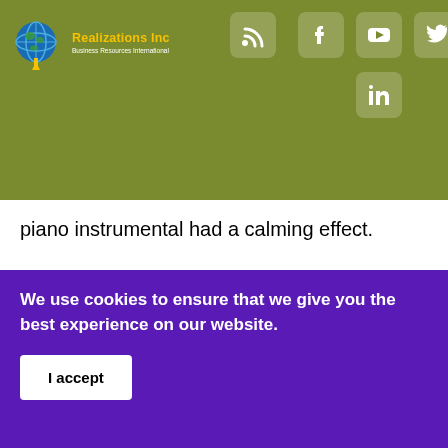Realizations Inc — Business Resources International
piano instrumental had a calming effect.
In his book, Closing of the American Mind, University of Chicago Professor Allan Bloom (in the chapter on
We use cookies to ensure that we give you the best experience on our website.